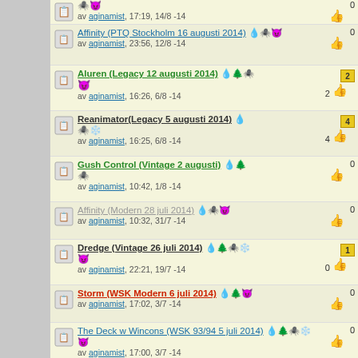av aginamist, 17:19, 14/8 -14 | 0 thumbs
Affinity (PTQ Stockholm 16 augusti 2014) av aginamist, 23:56, 12/8 -14 | 0 thumbs
Aluren (Legacy 12 augusti 2014) av aginamist, 16:26, 6/8 -14 | 2 saves, 2 thumbs
Reanimator(Legacy 5 augusti 2014) av aginamist, 16:25, 6/8 -14 | 4 saves, 4 thumbs
Gush Control (Vintage 2 augusti) av aginamist, 10:42, 1/8 -14 | 0 thumbs
Affinity (Modern 28 juli 2014) av aginamist, 10:32, 31/7 -14 | 0 thumbs
Dredge (Vintage 26 juli 2014) av aginamist, 22:21, 19/7 -14 | 1 save, 0 thumbs
Storm (WSK Modern 6 juli 2014) av aginamist, 17:02, 3/7 -14 | 0 thumbs
The Deck w Wincons (WSK 93/94 5 juli 2014) av aginamist, 17:00, 3/7 -14 | 0 thumbs
ANT (WSK Legacy 5 juli 2014) av aginamist, 16:58, 3/7 -14 | 0 thumbs
Stax (WSK Vintage 4 juli 2014) av aginamist, 16:58, 3/7 -14 | 0 thumbs
ANT (Legacy 29 juni 2014) av aginamist, 20:12, 28/6 -14 | 0 thumbs